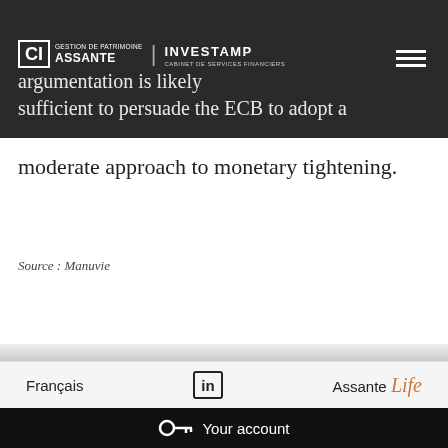market stress, details have been limited. In any
CI Assante Gestion de Patrimoine | Investamp
argumentation is likely sufficient to persuade the ECB to adopt a moderate approach to monetary tightening.
Source : Manuvie
Français | LinkedIn | Assante Life
Your account